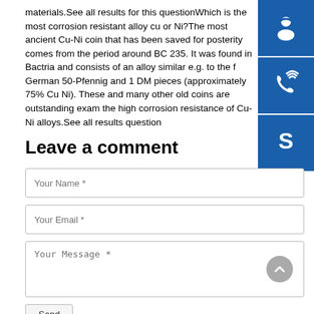materials.See all results for this questionWhich is the most corrosion resistant alloy cu or Ni?The most ancient Cu-Ni coin that has been saved for posterity comes from the period around BC 235. It was found in Bactria and consists of an alloy similar e.g. to the former German 50-Pfennig and 1 DM pieces (approximately 75% Cu and 25% Ni). These and many other old coins are outstanding examples of the high corrosion resistance of Cu-Ni alloys.See all results for this question
[Figure (illustration): Three blue square icon buttons on the right side: a customer support/headset icon, a phone/call icon, and a Skype icon]
Leave a comment
Your Name *
Your Email *
Your Message *
Send